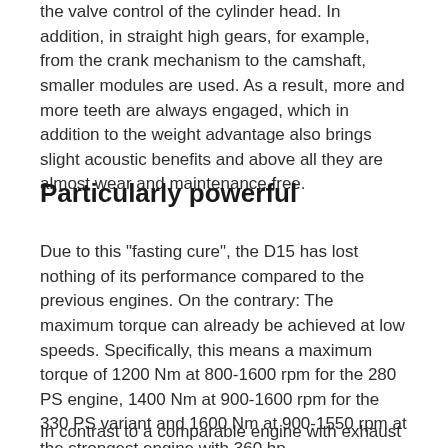the valve control of the cylinder head. In addition, in straight high gears, for example, from the crank mechanism to the camshaft, smaller modules are used. As a result, more and more teeth are always engaged, which in addition to the weight advantage also brings slight acoustic benefits and above all they are almost wear and maintenance free.
Particularly powerful
Due to this "fasting cure", the D15 has lost nothing of its performance compared to the previous engines. On the contrary: The maximum torque can already be achieved at low speeds. Specifically, this means a maximum torque of 1200 Nm at 800-1600 rpm for the 280 PS engine, 1400 Nm at 900-1600 rpm for the 330 PS variant and 1600 Nm at 900-1550 rpm at the strongest engine with 360 hp.
In contrast to a comparable engine with exhaust gas